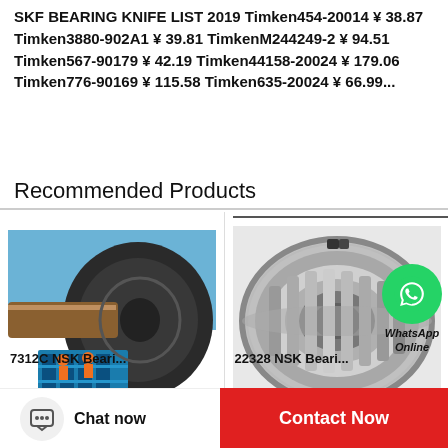SKF BEARING KNIFE LIST 2019 Timken454-20014 ¥ 38.87 Timken3880-902A1 ¥ 39.81 TimkenM244249-2 ¥ 94.51 Timken567-90179 ¥ 42.19 Timken44158-20024 ¥ 179.06 Timken776-90169 ¥ 115.58 Timken635-20024 ¥ 66.99...
Recommended Products
[Figure (photo): NSK 7312C bearing installed on large industrial machinery, with workers visible on scaffolding]
[Figure (photo): NSK 22328 cylindrical roller bearing with WhatsApp Online chat overlay]
7312C NSK Beari...
22328 NSK Beari...
Chat now
Contact Now